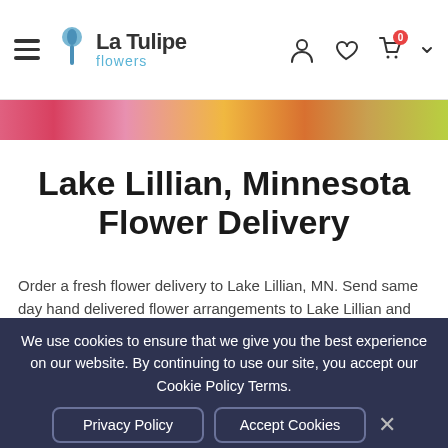La Tulipe flowers — navigation header with hamburger menu, logo, and icons (account, wishlist, cart with 0 badge)
[Figure (photo): Colorful flower banner strip — pinks, yellows, oranges, greens]
Lake Lillian, Minnesota Flower Delivery
Order a fresh flower delivery to Lake Lillian, MN. Send same day hand delivered flower arrangements to Lake Lillian and surrounding areas.
[Figure (illustration): Cookie emoji illustration — a chocolate chip cookie with crumbles scattering]
We use cookies to ensure that we give you the best experience on our website. By continuing to use our site, you accept our Cookie Policy Terms.
Privacy Policy   Accept Cookies   ✕